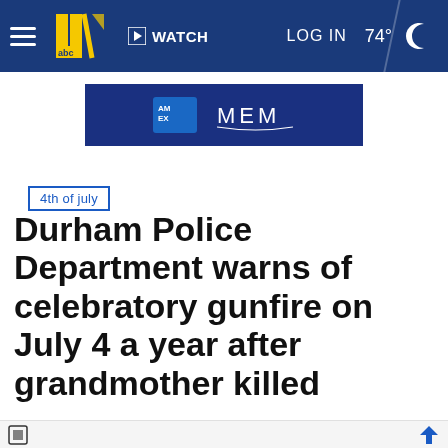WATCH   LOG IN   74°
[Figure (logo): WTVD 11 ABC News logo with hamburger menu, WATCH button, LOG IN, 74° weather and moon icon on dark blue navigation bar]
[Figure (logo): American Express and MEM advertisement banner on dark blue background]
4th of july
Durham Police Department warns of celebratory gunfire on July 4 a year after grandmother killed